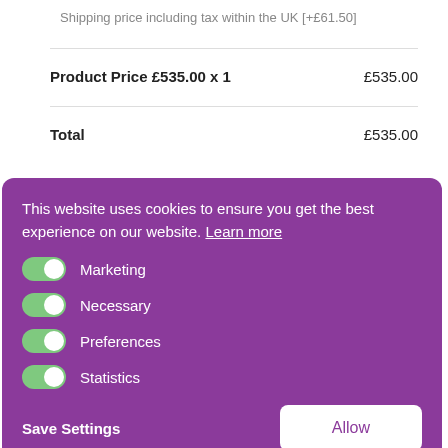Shipping price including tax within the UK [+£61.50]
| Product Price £535.00 x 1 | £535.00 |
| Total | £535.00 |
[Figure (screenshot): Cookie consent banner with purple background showing toggle switches for Marketing, Necessary, Preferences, Statistics, with Save Settings and Allow buttons. An 'Add to Cart' button is partially visible behind the banner. SKU and category text also visible in background.]